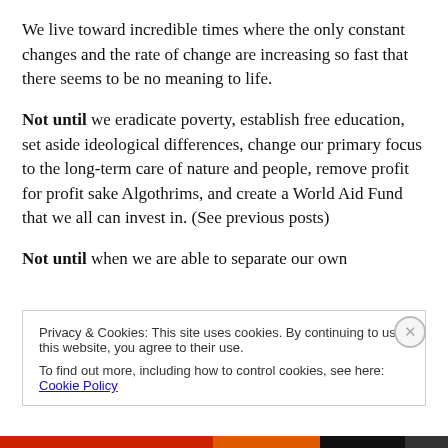We live toward incredible times where the only constant changes and the rate of change are increasing so fast that there seems to be no meaning to life.
Not until we eradicate poverty, establish free education, set aside ideological differences, change our primary focus to the long-term care of nature and people, remove profit for profit sake Algothrims, and create a World Aid Fund that we all can invest in. (See previous posts)
Not until when we are able to separate our own
Privacy & Cookies: This site uses cookies. By continuing to use this website, you agree to their use.
To find out more, including how to control cookies, see here: Cookie Policy
Close and accept